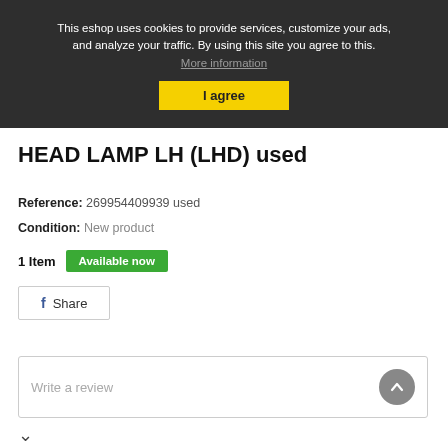This eshop uses cookies to provide services, customize your ads, and analyze your traffic. By using this site you agree to this. More information
I agree
HEAD LAMP LH (LHD) used
Reference: 269954409939 used
Condition: New product
1 Item   Available now
Share
Write a review